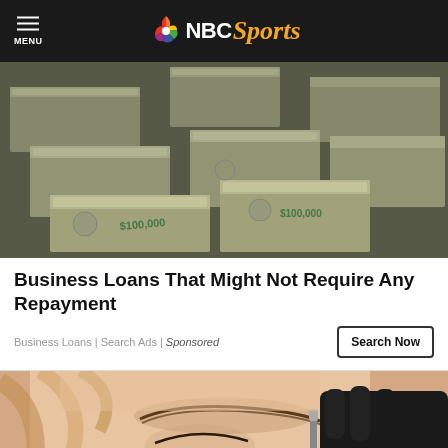NBC Sports
[Figure (photo): Stacks of bundled $100,000 cash bills arranged in piles, a photorealistic 3D render]
Business Loans That Might Not Require Any Repayment
Business Loans | Search Ads | Sponsored
[Figure (photo): Close-up of a woman's face with someone applying eyebrow treatment with a brush while wearing black gloves]